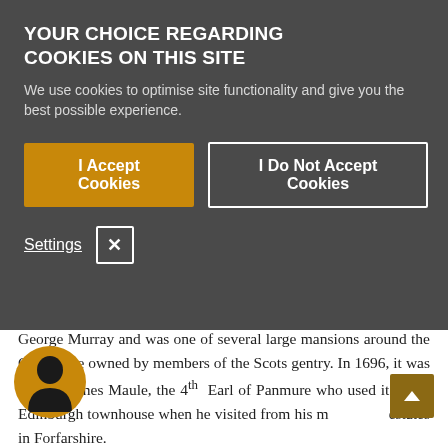YOUR CHOICE REGARDING COOKIES ON THIS SITE
We use cookies to optimise site functionality and give you the best possible experience.
I Accept Cookies
I Do Not Accept Cookies
Settings
Canongate Kirk. It was originally built in 1691 by Lieut. Col. George Murray and was one of several large mansions around the Canongate owned by members of the Scots gentry. In 1696, it was sold to James Maule, the 4th Earl of Panmure who used it as his Edinburgh townhouse when he visited from his main estates in Forfarshire.
n Scottish politics, Lord Panmure was on the side in the 1715 Jacobite Uprisings and his estates and title
[Figure (illustration): Circular avatar icon with silhouette of a person in profile on an orange/gold background]
[Figure (other): Scroll-to-top button with upward chevron arrow on dark gold/brown background]